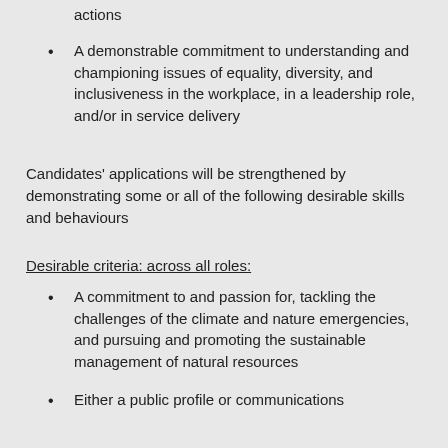actions
A demonstrable commitment to understanding and championing issues of equality, diversity, and inclusiveness in the workplace, in a leadership role, and/or in service delivery
Candidates' applications will be strengthened by demonstrating some or all of the following desirable skills and behaviours
Desirable criteria: across all roles:
A commitment to and passion for, tackling the challenges of the climate and nature emergencies, and pursuing and promoting the sustainable management of natural resources
Either a public profile or communications